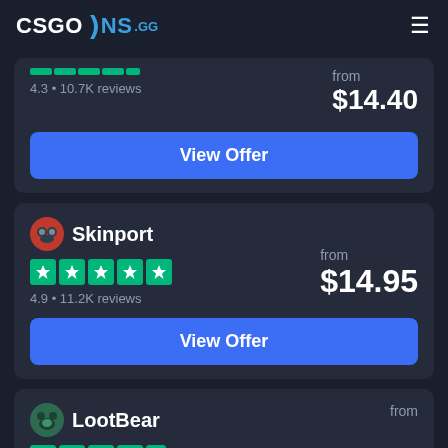CSGOSKINS.GG
4.3 • 10.7K reviews
from $14.40
View Offer
Skinport
4.9 • 11.2K reviews
from $14.95
View Offer
LootBear
from